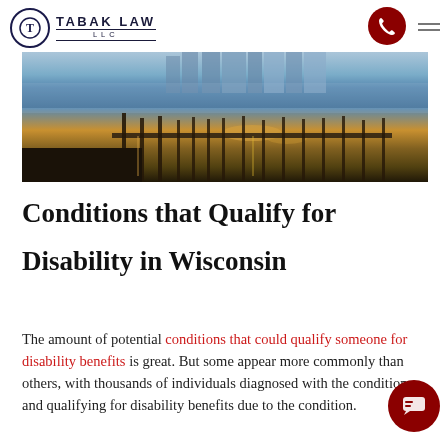Tabak Law LLC — navigation header with logo, phone button, and hamburger menu
[Figure (photo): Waterfront city marina at dusk with illuminated buildings reflecting in calm water, docks visible in foreground]
Conditions that Qualify for Disability in Wisconsin
The amount of potential conditions that could qualify someone for disability benefits is great. But some appear more commonly than others, with thousands of individuals diagnosed with the condition and qualifying for disability benefits due to the condition.